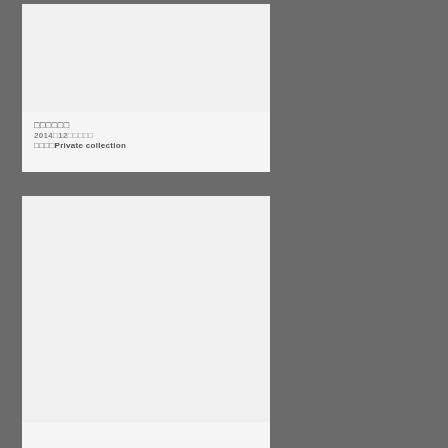[Figure (photo): White/light gray rectangular card with blank image area at top]
□□□□□□
2014□12□□□□□
□□□□Private collection
[Figure (photo): White/light gray rectangular card with large blank image area]
□□□□□RAKU□□
2014□10□□□□□
□□□□Private collection
[Figure (photo): Partially visible white/light gray card at bottom]